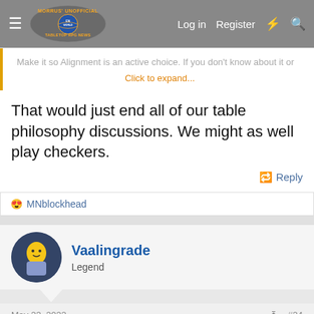Morrus' Unofficial Tabletop RPG News — Log in | Register
Make it so Alignment is an active choice. If you don't know about it or
Click to expand...
That would just end all of our table philosophy discussions. We might as well play checkers.
Reply
😍 MNblockhead
Vaalingrade
Legend
May 22, 2022
#24
payn said: